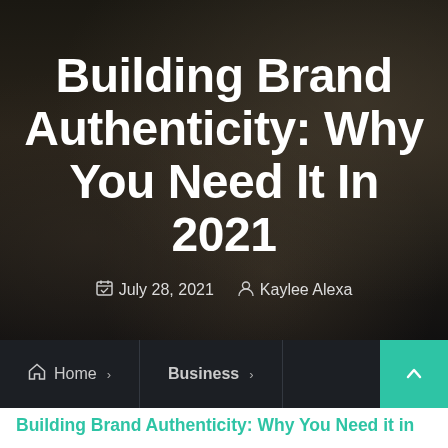Building Brand Authenticity: Why You Need It In 2021
July 28, 2021  Kaylee Alexa
Home › Business ›
Building Brand Authenticity: Why You Need it in 2021